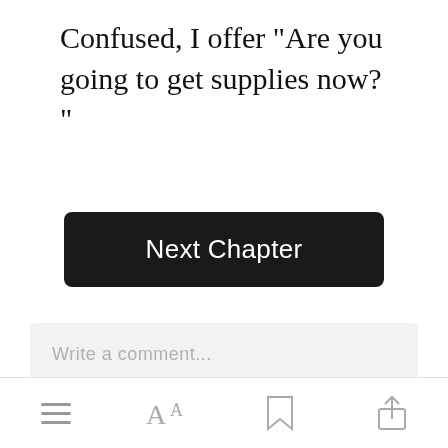Confused, I offer "Are you going to get supplies now? "
[Figure (screenshot): Dark rounded rectangle button labeled 'Next Chapter' in white text]
[Figure (screenshot): Light gray comment input field with placeholder text 'Write a comment...']
[Figure (screenshot): Green rounded rectangle button labeled 'Open in app' in white text]
Bottom navigation bar with menu, font size, bookmark, and share icons